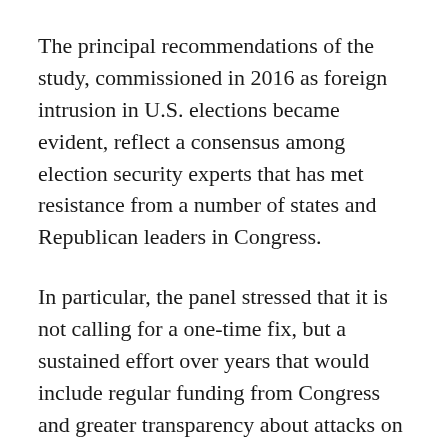The principal recommendations of the study, commissioned in 2016 as foreign intrusion in U.S. elections became evident, reflect a consensus among election security experts that has met resistance from a number of states and Republican leaders in Congress.
In particular, the panel stressed that it is not calling for a one-time fix, but a sustained effort over years that would include regular funding from Congress and greater transparency about attacks on voting systems and other irregularities.
Among its specific recommendations was a mainstay of election reformers: All elections should use human-readable paper ballots by 2020. Such systems are intended to assure voters that their vote was recorded